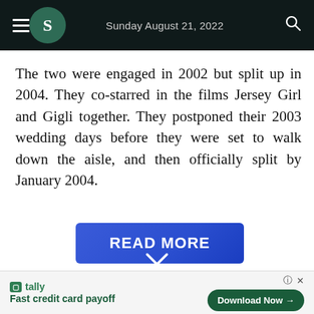Sunday August 21, 2022
The two were engaged in 2002 but split up in 2004. They co-starred in the films Jersey Girl and Gigli together. They postponed their 2003 wedding days before they were set to walk down the aisle, and then officially split by January 2004.
[Figure (other): Blue READ MORE button with chevron/arrow down icon overlay]
tally — Fast credit card payoff | Download Now →